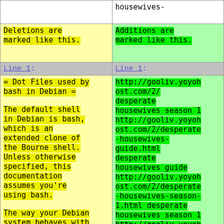| (deletions) | (additions) |
| --- | --- |
| housewives- |  |
| Deletions are marked like this. | Additions are marked like this. |
| Line 1: | Line 1: |
| = Dot Files used by bash in Debian =

The default shell in Debian is bash, which is an extended clone of the Bourne shell. Unless otherwise specified, this documentation assumes you're using bash.

The way your Debian system behaves with respect to the reading of "dot files" at login time, setting up... | http://gooliv.yoyohost.com/2/ desperate housewives season 1 http://gooliv.yoyohost.com/2/desperate-housewives-guide.html desperate housewives guide http://gooliv.yoyohost.com/2/desperate-housewives-season-1.html desperate housewives season 1 http://gooliv.yoyohost.com/2/desperate-housewives-tv.html desperate housewives tv... |